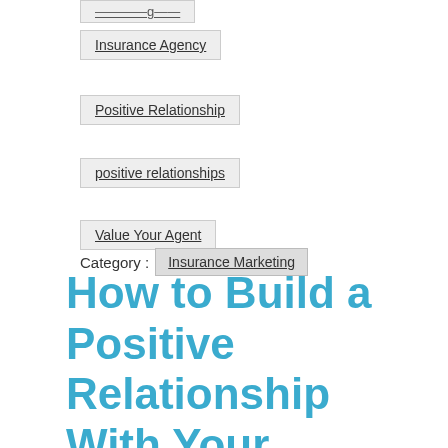Insurance Agency
Positive Relationship
positive relationships
Value Your Agent
Category :  Insurance Marketing
How to Build a Positive Relationship With Your Insurance